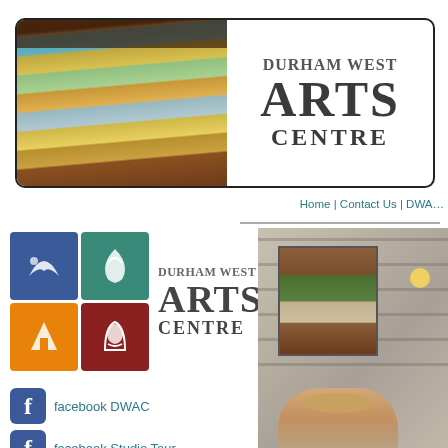[Figure (logo): Durham West Arts Centre header banner with paint brushes photo on left and organization name on right]
Home | Contact Us | DWA...
[Figure (logo): Durham West Arts Centre logo with four colored icon squares (blue, teal, orange, red) and text]
facebook DWAC
facebook Studio Tour
Studio Tour Instagram
[Figure (photo): Photo showing artwork (horse painting) mounted on stone wall with person below]